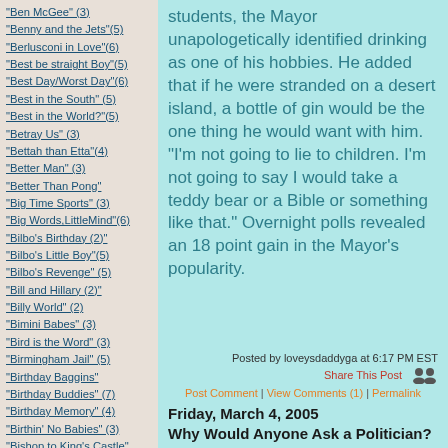"Ben McGee" (3)
"Benny and the Jets"(5)
"Berlusconi in Love"(6)
"Best be straight Boy"(5)
"Best Day/Worst Day"(6)
"Best in the South" (5)
"Best in the World?"(5)
"Betray Us" (3)
"Bettah than Etta"(4)
"Better Man" (3)
"Better Than Pong"
"Big Time Sports" (3)
"Big Words,LittleMind"(6)
"Bilbo's Birthday (2)"
"Bilbo's Little Boy"(5)
"Bilbo's Revenge" (5)
"Bill and Hillary (2)"
"Billy World" (2)
"Bimini Babes" (3)
"Bird is the Word" (3)
"Birmingham Jail" (5)
"Birthday Baggins"
"Birthday Buddies" (7)
"Birthday Memory" (4)
"Birthin' No Babies" (3)
"Bishop to King's Castle"
"bitch,bitch,bitch"(6)
"Black Friday" (2)
students, the Mayor unapologetically identified drinking as one of his hobbies. He added that if he were stranded on a desert island, a bottle of gin would be the one thing he would want with him. "I'm not going to lie to children. I'm not going to say I would take a teddy bear or a Bible or something like that." Overnight polls revealed an 18 point gain in the Mayor's popularity.
Posted by loveysdaddyga at 6:17 PM EST
Share This Post
Post Comment | View Comments (1) | Permalink
Friday, March 4, 2005
Why Would Anyone Ask a Politician?